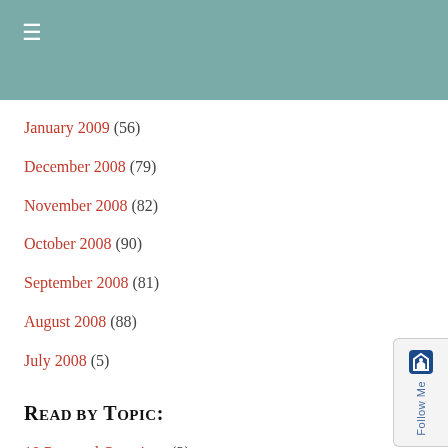January 2009 (56)
December 2008 (79)
November 2008 (82)
October 2008 (90)
September 2008 (81)
August 2008 (88)
July 2008 (5)
Read by Topic:
10 Personal Questions (2)
168 Hours (3)
29 Before 29 (1)
70.3 (1)
Acupuncture 101 (1)